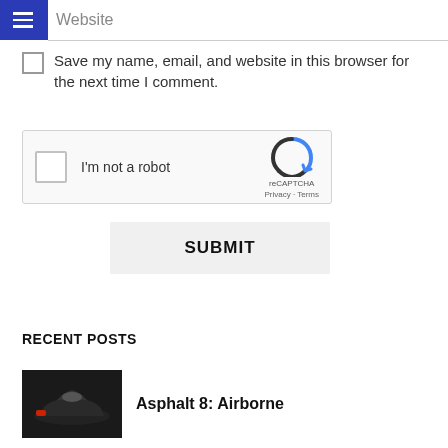Website
Save my name, email, and website in this browser for the next time I comment.
[Figure (screenshot): reCAPTCHA widget with checkbox labeled 'I'm not a robot' and reCAPTCHA logo with Privacy and Terms links]
SUBMIT
RECENT POSTS
[Figure (photo): Thumbnail of a racing car for Asphalt 8 Airborne post]
Asphalt 8: Airborne